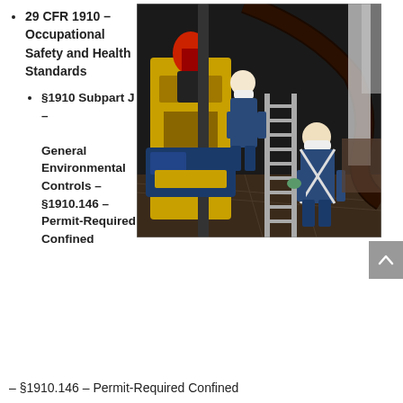29 CFR 1910 – Occupational Safety and Health Standards
§1910 Subpart J – General Environmental Controls – §1910.146 – Permit-Required Confined
[Figure (photo): Workers in safety gear operating drilling equipment on an oil rig floor at night, with yellow machinery and a ladder visible.]
– §1910.146 – Permit-Required Confined